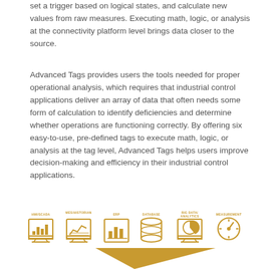set a trigger based on logical states, and calculate new values from raw measures. Executing math, logic, or analysis at the connectivity platform level brings data closer to the source.
Advanced Tags provides users the tools needed for proper operational analysis, which requires that industrial control applications deliver an array of data that often needs some form of calculation to identify deficiencies and determine whether operations are functioning correctly. By offering six easy-to-use, pre-defined tags to execute math, logic, or analysis at the tag level, Advanced Tags helps users improve decision-making and efficiency in their industrial control applications.
[Figure (infographic): Row of six icons with labels: HMI/SCADA, MES/HISTORIAN, ERP, DATABASE, BIG DATA/ANALYTICS, MEASUREMENT. Below them is the top portion of a triangle/pyramid shape, all in golden/amber color.]